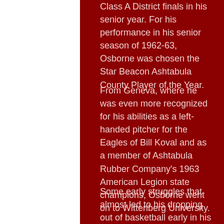Class A District finals in his senior year. For his performance in his senior season of 1962-63, Osborne was chosen the Star Beacon Ashtabula County Player of the Year.
From Geneva, where he was even more recognized for his abilities as a left-handed pitcher for the Eagles of Bill Koval and as a member of Ashtabula Rubber Company's 1963 American Legion state champions, Osborne went on to Wittenberg University.
Some early struggles that almost led to his dropping out of basketball early in his career were overcome through sheer perseverance. He became the guy who ran the Tigers of future Ohio